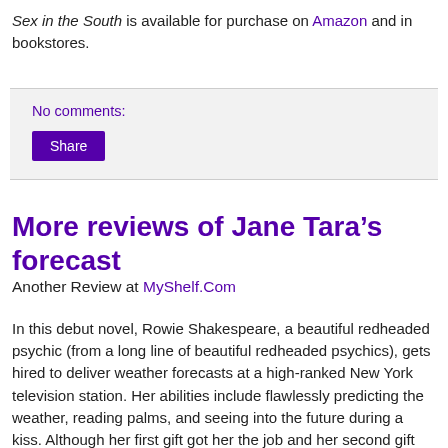Sex in the South is available for purchase on Amazon and in bookstores.
No comments:
Share
More reviews of Jane Tara’s forecast
Another Review at MyShelf.Com
In this debut novel, Rowie Shakespeare, a beautiful redheaded psychic (from a long line of beautiful redheaded psychics), gets hired to deliver weather forecasts at a high-ranked New York television station. Her abilities include flawlessly predicting the weather, reading palms, and seeing into the future during a kiss. Although her first gift got her the job and her second gift helps save lives, her ability to see a man’s romantic future after one kiss has doomed her love life to failure. That is, until she kisses a man on a bus and …